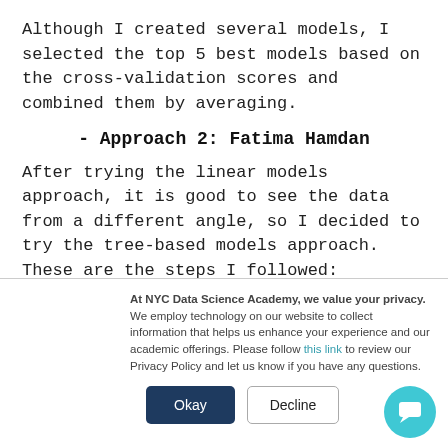Although I created several models, I selected the top 5 best models based on the cross-validation scores and combined them by averaging.
- Approach 2: Fatima Hamdan
After trying the linear models approach, it is good to see the data from a different angle, so I decided to try the tree-based models approach. These are the steps I followed:
At NYC Data Science Academy, we value your privacy. We employ technology on our website to collect information that helps us enhance your experience and our academic offerings. Please follow this link to review our Privacy Policy and let us know if you have any questions.